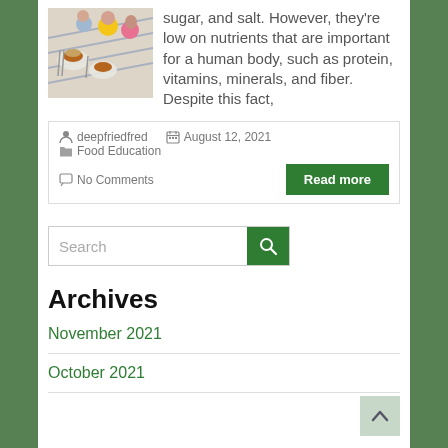[Figure (photo): Children sitting at a table eating food, viewed from above at an angle]
sugar, and salt. However, they're low on nutrients that are important for a human body, such as protein, vitamins, minerals, and fiber. Despite this fact,
deepfriedfred   August 12, 2021   Food Education   No Comments
Read more
Search
Archives
November 2021
October 2021